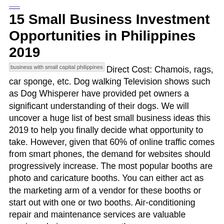15 Small Business Investment Opportunities in Philippines 2019
business with small capital philippines  Direct Cost: Chamois, rags, car sponge, etc. Dog walking Television shows such as Dog Whisperer have provided pet owners a significant understanding of their dogs. We will uncover a huge list of best small business ideas this 2019 to help you finally decide what opportunity to take. However, given that 60% of online traffic comes from smart phones, the demand for websites should progressively increase. The most popular booths are photo and caricature booths. You can either act as the marketing arm of a vendor for these booths or start out with one or two booths. Air-conditioning repair and maintenance services are valuable services during summer months.